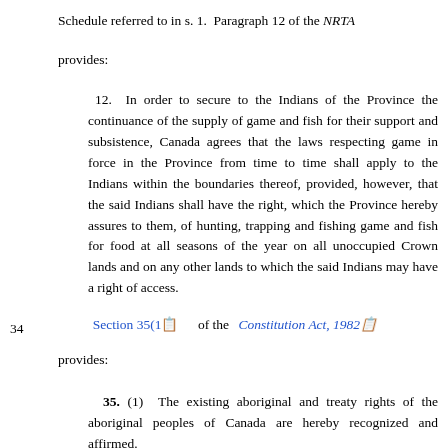Schedule referred to in s. 1.  Paragraph 12 of the NRTA provides:
12.  In order to secure to the Indians of the Province the continuance of the supply of game and fish for their support and subsistence, Canada agrees that the laws respecting game in force in the Province from time to time shall apply to the Indians within the boundaries thereof, provided, however, that the said Indians shall have the right, which the Province hereby assures to them, of hunting, trapping and fishing game and fish for food at all seasons of the year on all unoccupied Crown lands and on any other lands to which the said Indians may have a right of access.
34
Section 35(1)   of the Constitution Act, 1982 provides:
35. (1)  The existing aboriginal and treaty rights of the aboriginal peoples of Canada are hereby recognized and affirmed.